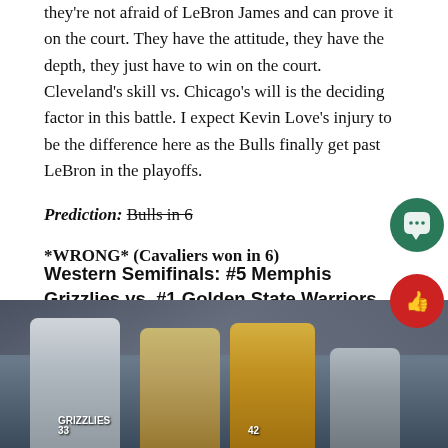they're not afraid of LeBron James and can prove it on the court. They have the attitude, they have the depth, they just have to win on the court. Cleveland's skill vs. Chicago's will is the deciding factor in this battle. I expect Kevin Love's injury to be the difference here as the Bulls finally get past LeBron in the playoffs.
Prediction: Bulls in 6
*WRONG* (Cavaliers won in 6)
Western Semifinals: #5 Memphis Grizzlies vs. #1 Golden State Warriors
[Figure (photo): Basketball players including a Memphis Grizzlies player wearing #33 and a Golden State Warriors player wearing #42 on the court.]